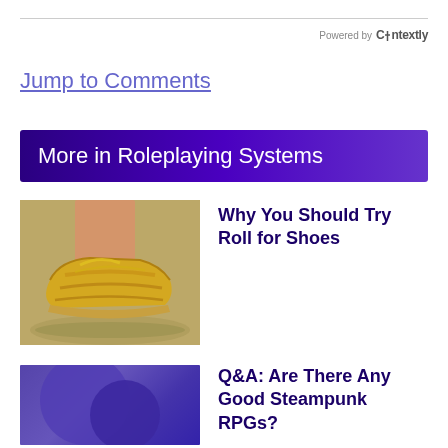Powered by Contextly
Jump to Comments
More in Roleplaying Systems
[Figure (photo): Close-up photo of golden/metallic shoes on pavement]
Why You Should Try Roll for Shoes
[Figure (illustration): Purple/indigo illustration with overlapping circles on purple background]
Q&A: Are There Any Good Steampunk RPGs?